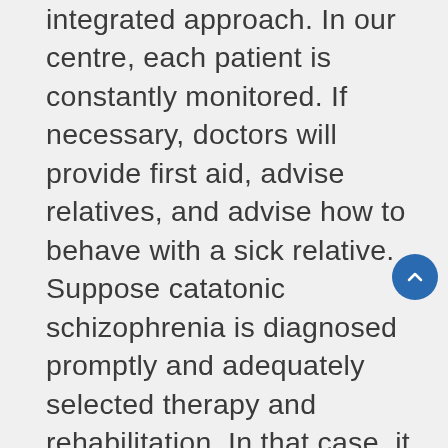integrated approach. In our centre, each patient is constantly monitored. If necessary, doctors will provide first aid, advise relatives, and advise how to behave with a sick relative. Suppose catatonic schizophrenia is diagnosed promptly and adequately selected therapy and rehabilitation. In that case, it is possible to achieve a stable improvement in the condition, reduce the manifestation of symptoms of the disease, prevent relapses and return a person to an everyday, healthy, active life.